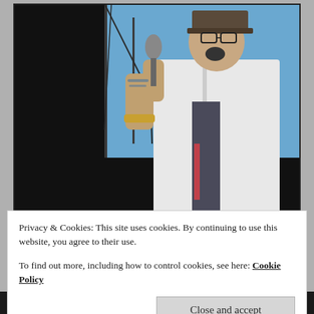[Figure (photo): A performer singing into a microphone on stage, wearing a white coat and patterned necktie, with tattoos visible on arms, against a blue sky background with stage rigging visible.]
Privacy & Cookies: This site uses cookies. By continuing to use this website, you agree to their use.
To find out more, including how to control cookies, see here: Cookie Policy
Close and accept
Duane Peters didn't pad up to skate with any of us, he